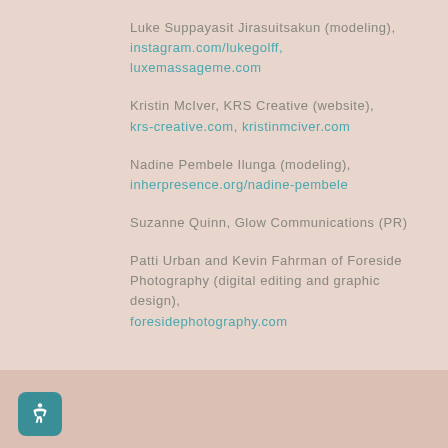Luke Suppayasit Jirasuitsakun (modeling), instagram.com/lukegolff, luxemassageme.com
Kristin McIver, KRS Creative (website), krs-creative.com, kristinmciver.com
Nadine Pembele Ilunga (modeling), inherpresence.org/nadine-pembele
Suzanne Quinn, Glow Communications (PR)
Patti Urban and Kevin Fahrman of Foreside Photography (digital editing and graphic design), foresidephotography.com